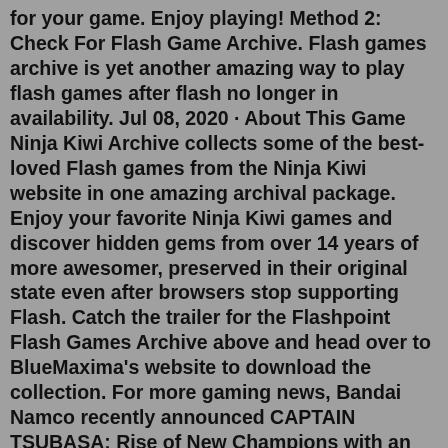for your game. Enjoy playing! Method 2: Check For Flash Game Archive. Flash games archive is yet another amazing way to play flash games after flash no longer in availability. Jul 08, 2020 · About This Game Ninja Kiwi Archive collects some of the best-loved Flash games from the Ninja Kiwi website in one amazing archival package. Enjoy your favorite Ninja Kiwi games and discover hidden gems from over 14 years of more awesomer, preserved in their original state even after browsers stop supporting Flash. Catch the trailer for the Flashpoint Flash Games Archive above and head over to BlueMaxima's website to download the collection. For more gaming news, Bandai Namco recently announced CAPTAIN TSUBASA: Rise of New Champions with an action-packed trailer .Открыть Страницу «Flash Game Archive» на Facebook.Jul 08, 2020 · About This Game Ninja Kiwi Archive collects some of the best-loved Flash games from the Ninja Kiwi website in one amazing archival package. Enjoy your favorite Ninja